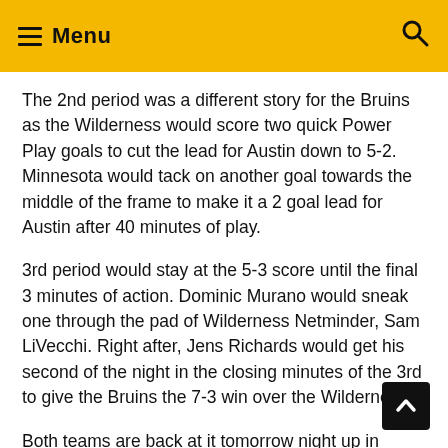Menu
The 2nd period was a different story for the Bruins as the Wilderness would score two quick Power Play goals to cut the lead for Austin down to 5-2. Minnesota would tack on another goal towards the middle of the frame to make it a 2 goal lead for Austin after 40 minutes of play.
3rd period would stay at the 5-3 score until the final 3 minutes of action. Dominic Murano would sneak one through the pad of Wilderness Netminder, Sam LiVecchi. Right after, Jens Richards would get his second of the night in the closing minutes of the 3rd to give the Bruins the 7-3 win over the Wilderness.
Both teams are back at it tomorrow night up in Cloquet, MN. That game can be seen live on HockeyTV as pu drop is set for 7:15 pm CST.